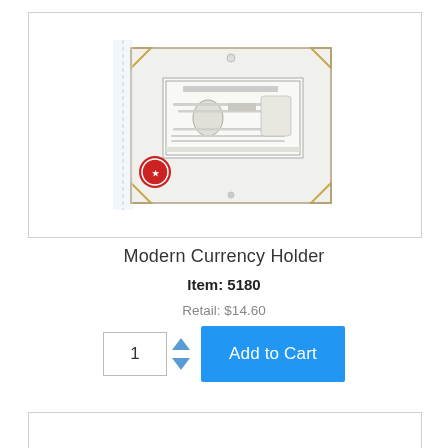[Figure (photo): Product photo of a Modern Currency Holder — a clear acrylic/plastic holder with gold corner accents containing a US currency note, with a red certification sticker on the lower left.]
Modern Currency Holder
Item: 5180
Retail: $14.60
1  Add to Cart